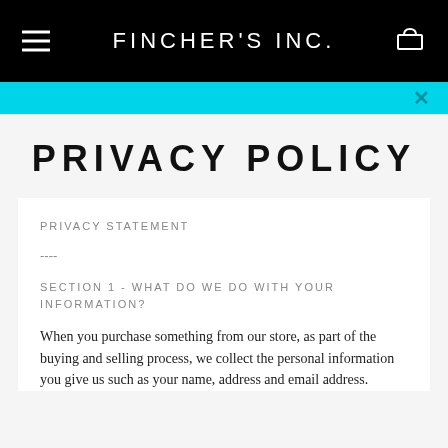FINCHER'S INC.
PRIVACY POLICY
PRIVACY STATEMENT
----
SECTION 1 - WHAT DO WE DO WITH YOUR INFORMATION?
When you purchase something from our store, as part of the buying and selling process, we collect the personal information you give us such as your name, address and email address.